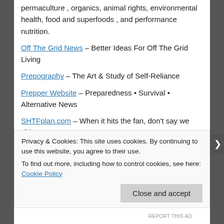permaculture , organics, animal rights, environmental health, food and superfoods , and performance nutrition.
Off The Grid News – Better Ideas For Off The Grid Living
Prepography – The Art & Study of Self-Reliance
Prepper Website – Preparedness • Survival • Alternative News
SHTFplan.com – When it hits the fan, don't say we didn't warn you.
SurvivalBlog – The Daily Web Log for Prepared Individuals Living in Uncertain Times.
SurvivoPedia – Uncommon Wisdom For Dangerous Times
Privacy & Cookies: This site uses cookies. By continuing to use this website, you agree to their use.
To find out more, including how to control cookies, see here: Cookie Policy
REPORT THIS AD